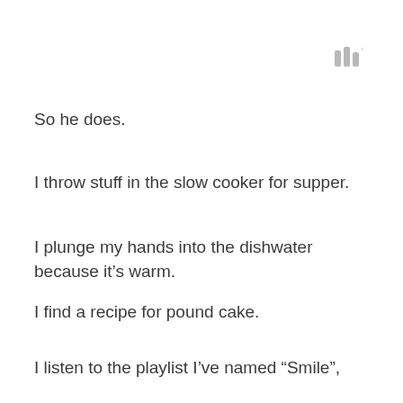[Figure (logo): Three vertical bar shapes resembling a logo mark, with a small degree symbol, in light grey]
So he does.
I throw stuff in the slow cooker for supper.
I plunge my hands into the dishwater because it’s warm.
I find a recipe for pound cake.
I listen to the playlist I’ve named “Smile”,